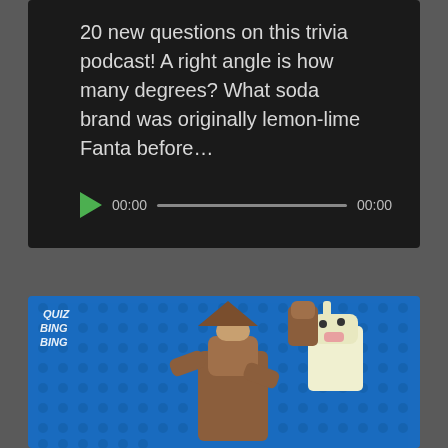20 new questions on this trivia podcast! A right angle is how many degrees? What soda brand was originally lemon-lime Fanta before...
[Figure (screenshot): Audio player controls showing a green play button, time stamp 00:00, a progress bar, and end time 00:00]
[Figure (photo): LEGO figures on a blue LEGO baseplate. Text overlay in upper left reads 'QUIZ BING BING'. Brown and white LEGO animal figures visible.]